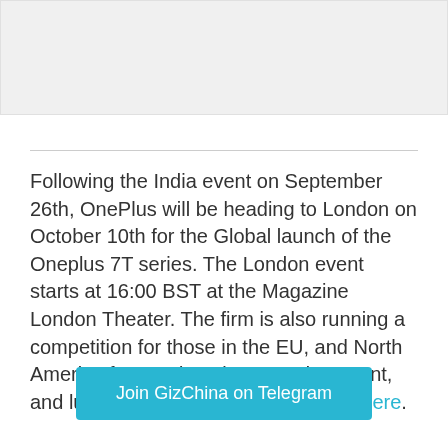[Figure (other): Gray placeholder image area at top of page]
Following the India event on September 26th, OnePlus will be heading to London on October 10th for the Global launch of the Oneplus 7T series. The London event starts at 16:00 BST at the Magazine London Theater. The firm is also running a competition for those in the EU, and North America for a 3-day trip to London event, and lunch with Oneplus CEO, details here.
Join GizChina on Telegram